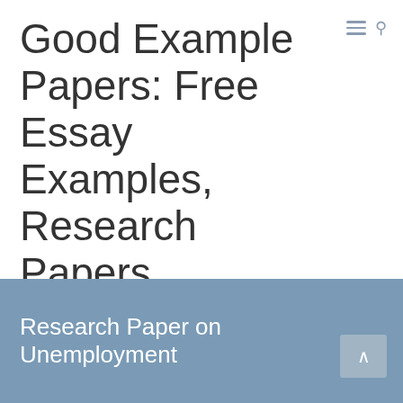Good Example Papers: Free Essay Examples, Research Papers, Dissertations, Thesis Papers
Find free example essays, examples of research papers, term papers, dissertation and thesis examples. Any paper topics and subjects for you!
Research Paper on Unemployment